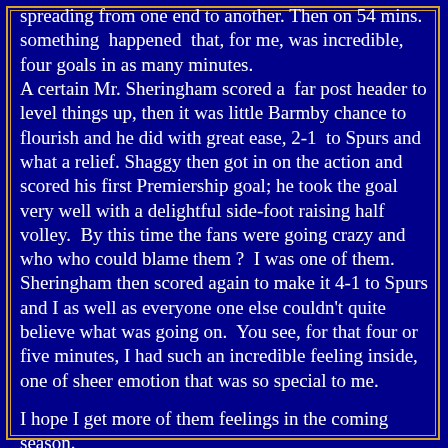spreading from one end to another. Then on 54 mins. something happened that, for me, was incredible, four goals in as many minutes. A certain Mr. Sheringham scored a far post header to level things up, then it was little Barmby chance to flourish and he did with great ease, 2-1 to Spurs and what a relief. Shaggy then got in on the action and scored his first Premiership goal; he took the goal very well with a delightful side-foot raising half volley. By this time the fans were going crazy and who who could blame them ? I was one of them. Sheringham then scored again to make it 4-1 to Spurs and I as well as everyone one else couldn't quite believe what was going on. You see, for that four or five minutes, I had such an incredible feeling inside, one of sheer emotion that was so special to me.
I hope I get more of them feelings in the coming season.
PAUL DAVIS